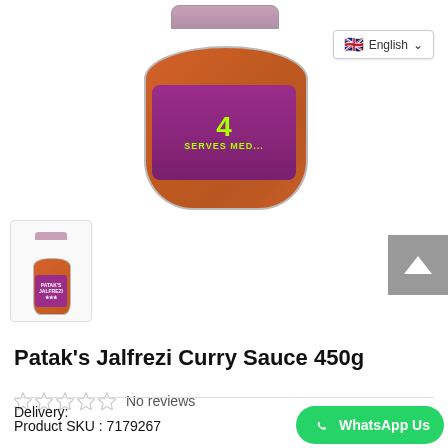[Figure (photo): Patak's Jalfrezi Curry Sauce jar, showing orange/red sauce through glass, with purple label displaying '4 SERVES MED...' in green text with chili pepper graphics]
[Figure (photo): Thumbnail of Patak's Jalfrezi Curry Sauce jar product image]
Patak's Jalfrezi Curry Sauce 450g
No reviews
Product SKU : 7179267
Delivery:
See details